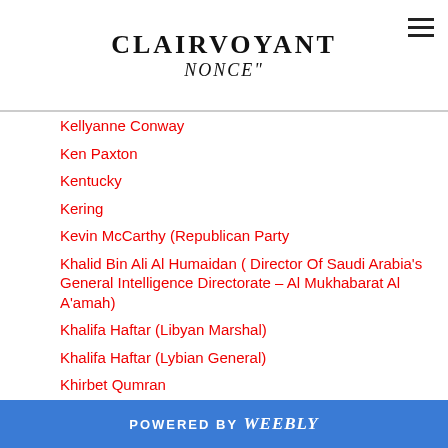CLAIRVOYANT NONCE
Kellyanne Conway
Ken Paxton
Kentucky
Kering
Kevin McCarthy (Republican Party
Khalid Bin Ali Al Humaidan ( Director Of Saudi Arabia's General Intelligence Directorate – Al Mukhabarat Al A'amah)
Khalifa Haftar (Libyan Marshal)
Khalifa Haftar (Lybian General)
Khirbet Qumran
Kidnapped
Kidnapped For Ransom
Kim Jong-un (Supreme Leader Of North Korea)
POWERED BY weebly